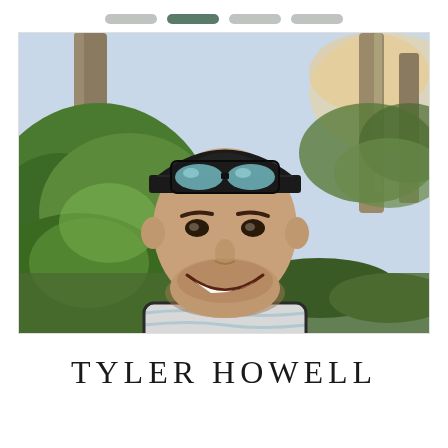[Figure (other): Navigation pills / tab indicators at top: four rounded rectangles, second one darker (active state)]
[Figure (photo): Portrait photo of Tyler Howell, a young man wearing a black snapback cap with sunglasses resting on the brim, smiling broadly, wearing a striped tank top, outdoors with green tropical foliage and palm trees in the background]
TYLER HOWELL